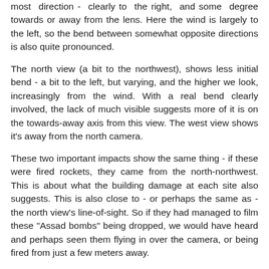most direction - clearly to the right, and some degree towards or away from the lens. Here the wind is largely to the left, so the bend between somewhat opposite directions is also quite pronounced.
The north view (a bit to the northwest), shows less initial bend - a bit to the left, but varying, and the higher we look, increasingly from the wind. With a real bend clearly involved, the lack of much visible suggests more of it is on the towards-away axis from this view. The west view shows it's away from the north camera.
These two important impacts show the same thing - if these were fired rockets, they came from the north-northwest. This is about what the building damage at each site also suggests. This is also close to - or perhaps the same as - the north view's line-of-sight. So if they had managed to film these "Assad bombs" being dropped, we would have heard and perhaps seen them flying in over the camera, or being fired from just a few meters away.
Area 3
(further analysis)